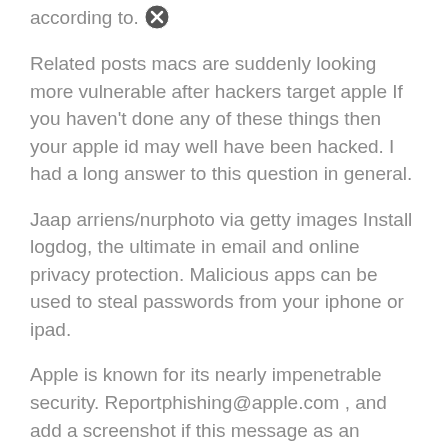according to. [close button]
Related posts macs are suddenly looking more vulnerable after hackers target apple If you haven't done any of these things then your apple id may well have been hacked. I had a long answer to this question in general.
Jaap arriens/nurphoto via getty images Install logdog, the ultimate in email and online privacy protection. Malicious apps can be used to steal passwords from your iphone or ipad.
Apple is known for its nearly impenetrable security. Reportphishing@apple.com , and add a screenshot if this message as an attachment. Apple wouldn't send you such a message about a hacked account.
Malware is another problem that's hit the [close button]